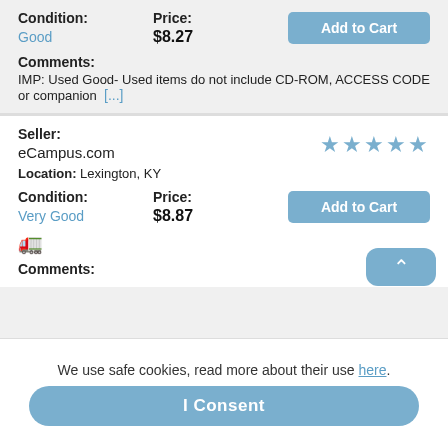Condition: Good | Price: $8.27 | Add to Cart
Comments: IMP: Used Good- Used items do not include CD-ROM, ACCESS CODE or companion [...]
Seller: eCampus.com | 4 stars | Location: Lexington, KY
Condition: Very Good | Price: $8.87 | Add to Cart
[Figure (illustration): Truck/shipping icon]
Comments:
We use safe cookies, read more about their use here.
I Consent